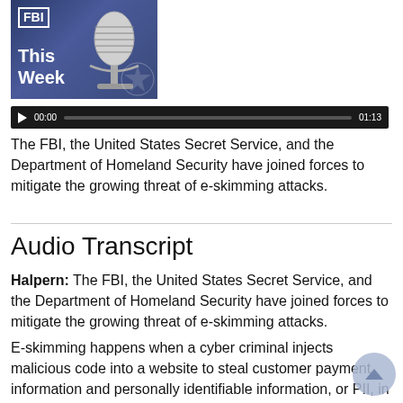[Figure (photo): FBI This Week podcast thumbnail with microphone on blue background]
[Figure (other): Audio player with play button, 00:00 timestamp, progress bar, and 01:13 duration]
The FBI, the United States Secret Service, and the Department of Homeland Security have joined forces to mitigate the growing threat of e-skimming attacks.
Audio Transcript
Halpern: The FBI, the United States Secret Service, and the Department of Homeland Security have joined forces to mitigate the growing threat of e-skimming attacks.
E-skimming happens when a cyber criminal injects malicious code into a website to steal customer payment information and personally identifiable information, or PII, in real time.